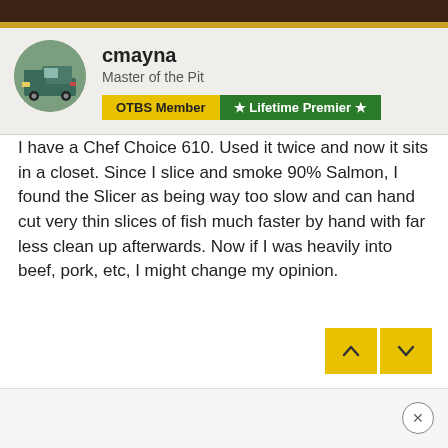cmayna — Master of the Pit | OTBS Member | Lifetime Premier
I have a Chef Choice 610.  Used it twice and now it sits in a closet. Since I slice and smoke 90% Salmon, I found the Slicer as being way too slow and can hand cut very thin slices of fish much faster by hand with far less clean up afterwards.  Now if I was heavily into beef, pork, etc, I might change my opinion.